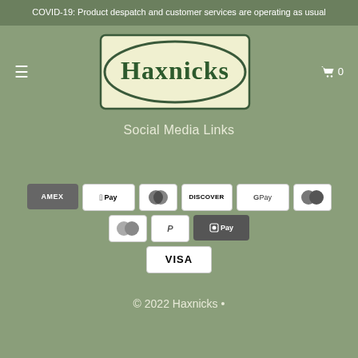COVID-19: Product despatch and customer services are operating as usual
[Figure (logo): Haxnicks brand logo — dark green oval shape with cream/yellow background inside a rounded rectangle border, with the word 'Haxnicks' in dark green serif font]
Social Media Links
[Figure (infographic): Payment method icons: AMEX (dark grey), Apple Pay (white), Diners Club (white), Discover (white), Google Pay (white), Mastercard (white), Mastercard grey variant (white), PayPal (white), Shop Pay (dark grey), VISA (white)]
© 2022 Haxnicks •